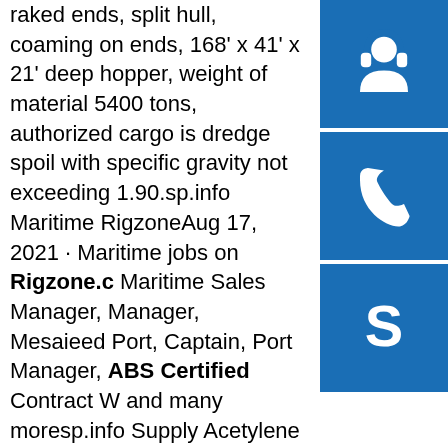raked ends, split hull, coaming on ends, 168' x 41' x 21' deep hopper, weight of material 5400 tons, authorized cargo is dredge spoil with specific gravity not exceeding 1.90.sp.info Maritime RigzoneAug 17, 2021 · Maritime jobs on Rigzone.c Maritime Sales Manager, Manager, Mesaieed Port, Captain, Port Manager, ABS Certified Contract W and many moresp.info Supply Acetylene Gas Plant Use 2L Aluminum Carbon ...Gas Carbon Dioxide Suppliers, Manufacturers, Factory - 5cbm Stainless Storage Tank For Liquefied Petroleum Gas Tank - INDUSTRY GASTEC CO., LTD. OEM High Pressu Helium For Balloon - Partigos Zebra Ballons Helium Tank Balloons Foil - INDUSTRY GASTEC CO., LTD.sp.info China Medical Oxygen Tank Suppliers, Manufacturers ...Custom Industrial Gas Tank Prices Suppliers, Manufacturers, Factory - Seamless Steel High Pressure 50L Oxygen Cylinder - INDUSTRY GASTEC CO., LTD.OEM Nitrous Oxide N2o Gas Suppliers,
[Figure (illustration): Blue square button with white headset/customer support icon]
[Figure (illustration): Blue square button with white phone icon]
[Figure (illustration): Blue square button with white Skype icon (letter S)]